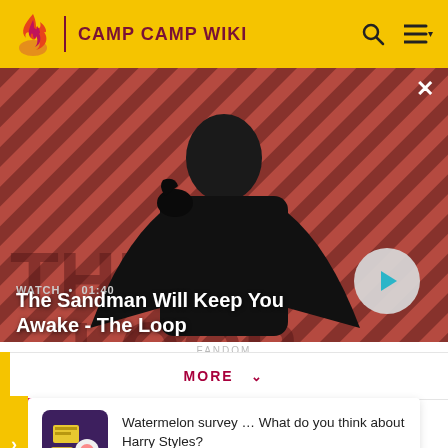CAMP CAMP WIKI
[Figure (screenshot): Video thumbnail showing a figure in black with a raven on shoulder against a red diagonal striped background. Title: The Sandman Will Keep You Awake - The Loop. Duration: 01:40. Play button visible.]
WATCH • 01:40
The Sandman Will Keep You Awake - The Loop
MORE
Watermelon survey … What do you think about Harry Styles?
TAKE THE SURVEY HERE